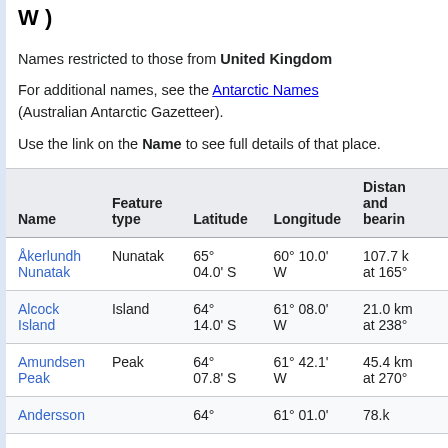W )
Names restricted to those from United Kingdom
For additional names, see the Antarctic Names (Australian Antarctic Gazetteer).
Use the link on the Name to see full details of that place.
| Name | Feature type | Latitude | Longitude | Distance and bearing |
| --- | --- | --- | --- | --- |
| Åkerlundh Nunatak | Nunatak | 65° 04.0' S | 60° 10.0' W | 107.7 k at 165° |
| Alcock Island | Island | 64° 14.0' S | 61° 08.0' W | 21.0 km at 238° |
| Amundsen Peak | Peak | 64° 07.8' S | 61° 42.1' W | 45.4 km at 270° |
| Andersson |  | 64° | 61° 01.0' | 78.k |